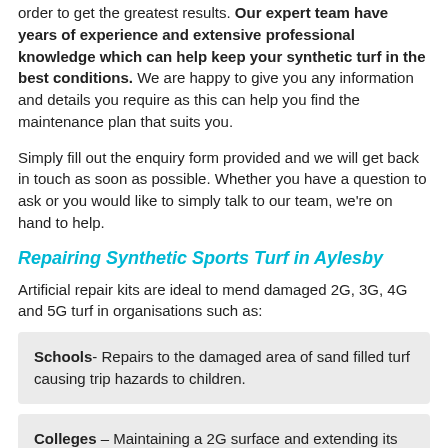order to get the greatest results. Our expert team have years of experience and extensive professional knowledge which can help keep your synthetic turf in the best conditions. We are happy to give you any information and details you require as this can help you find the maintenance plan that suits you.
Simply fill out the enquiry form provided and we will get back in touch as soon as possible. Whether you have a question to ask or you would like to simply talk to our team, we're on hand to help.
Repairing Synthetic Sports Turf in Aylesby
Artificial repair kits are ideal to mend damaged 2G, 3G, 4G and 5G turf in organisations such as:
Schools- Repairs to the damaged area of sand filled turf causing trip hazards to children.
Colleges – Maintaining a 2G surface and extending its life expectancy by conducting repairs.